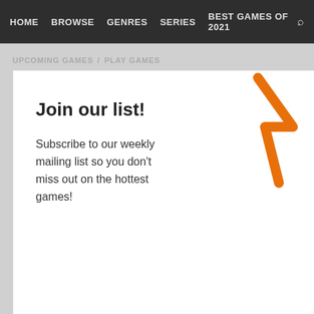HOME  BROWSE  GENRES  SERIES  BEST GAMES OF 2021
UPCOMING GAMES / PLAY GAMES
Join our list!
Subscribe to our weekly mailing list so you don't miss out on the hottest games!